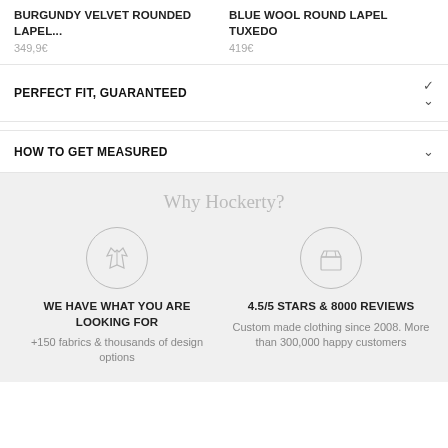BURGUNDY VELVET ROUNDED LAPEL...
349,9€
BLUE WOOL ROUND LAPEL TUXEDO
419€
PERFECT FIT, GUARANTEED
HOW TO GET MEASURED
Why Hockerty?
WE HAVE WHAT YOU ARE LOOKING FOR
+150 fabrics & thousands of design options
4.5/5 STARS & 8000 REVIEWS
Custom made clothing since 2008. More than 300,000 happy customers